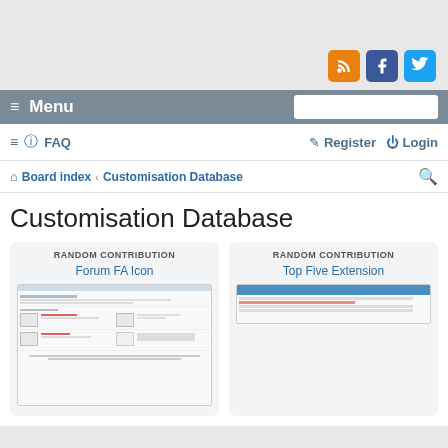[Figure (screenshot): Top gray area with social media icons (RSS, Facebook, Twitter)]
≡ Menu
≡  FAQ    Register  Login
Board index ‹ Customisation Database
Customisation Database
RANDOM CONTRIBUTION
Forum FA Icon
[Figure (screenshot): Forum FA Icon thumbnail screenshot]
RANDOM CONTRIBUTION
Top Five Extension
[Figure (screenshot): Top Five Extension thumbnail screenshot]